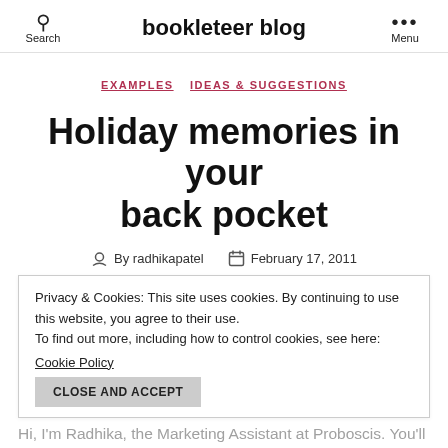bookleteer blog
EXAMPLES   IDEAS & SUGGESTIONS
Holiday memories in your back pocket
By radhikapatel   February 17, 2011
Privacy & Cookies: This site uses cookies. By continuing to use this website, you agree to their use.
To find out more, including how to control cookies, see here:
Cookie Policy
CLOSE AND ACCEPT
Hi, I'm Radhika, the Marketing Assistant at Proboscis. You'll see me here weekly, as I'll be writing posts on ideas and suggestions for using Bookleteer in new and inventive ways. Take a look at my first idea…